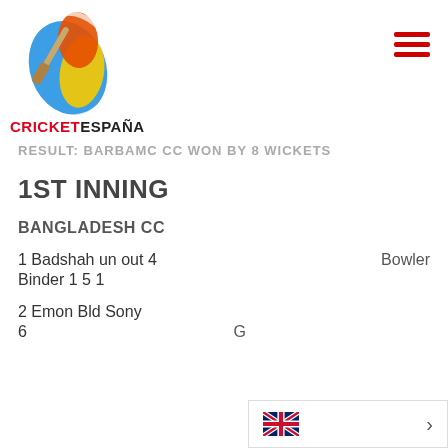[Figure (logo): Cricket España logo with colorful cricket bat design and red/yellow/blue colors]
RESULT: BARBAMC CC WON BY 8 WICKETS
1ST INNING
BANGLADESH CC
1 Badshah un out 4    Bowler Binder 1 5 1
2 Emon Bld Sony 6    G